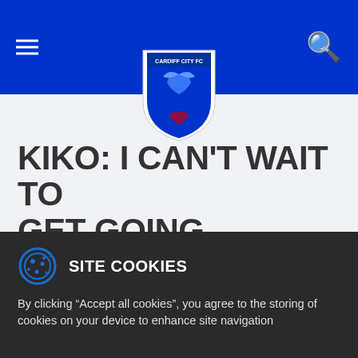Cardiff City FC website navigation header with hamburger menu, club crest logo, and search icon
KIKO: I CAN'T WAIT TO GET GOING
Club News 25th August
Striker targets selection and performance in the Cup
Cardiff City striker  Kiko Macheda is eager for a chance to impress for the Bluebirds at Port Vale
SITE COOKIES
By clicking "Accept all cookies", you agree to the storing of cookies on your device to enhance site navigation